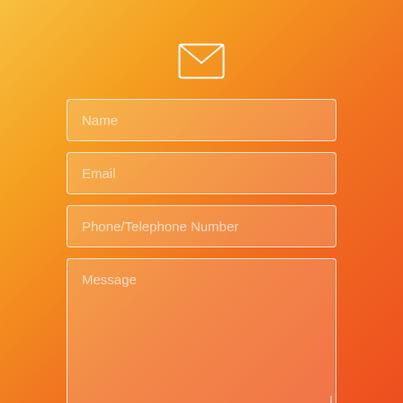[Figure (illustration): White envelope/mail icon outline centered near top of page]
Name
Email
Phone/Telephone Number
Message